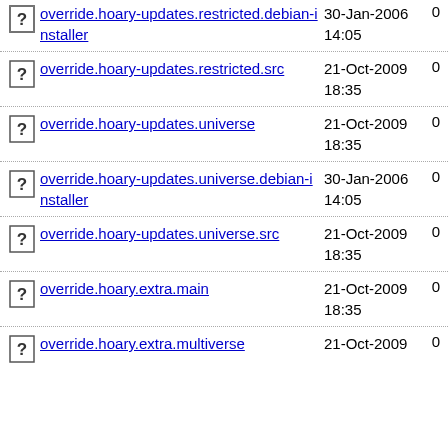override.hoary-updates.restricted.debian-installer  30-Jan-2006 14:05  0
override.hoary-updates.restricted.src  21-Oct-2009 18:35  0
override.hoary-updates.universe  21-Oct-2009 18:35  0
override.hoary-updates.universe.debian-installer  30-Jan-2006 14:05  0
override.hoary-updates.universe.src  21-Oct-2009 18:35  0
override.hoary.extra.main  21-Oct-2009 18:35  0
override.hoary.extra.multiverse  21-Oct-2009  0